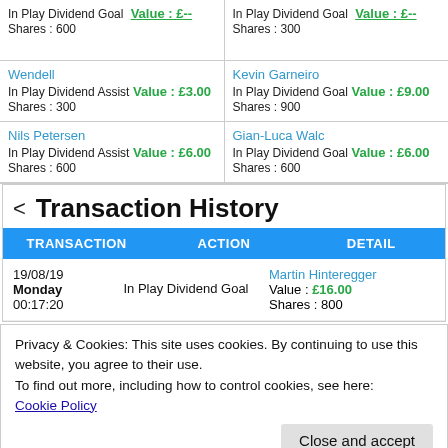| TRANSACTION | ACTION | DETAIL |
| --- | --- | --- |
| Shares : 600 |  | Shares : 300 |
| Wendell
In Play Dividend Assist
Value : £3.00
Shares : 300 |  | Kevin Garneiro
In Play Dividend Goal
Value : £9.00
Shares : 900 |
| Nils Petersen
In Play Dividend Assist
Value : £6.00
Shares : 600 |  | Gian-Luca Walc
In Play Dividend Goal
Value : £6.00
Shares : 600 |
Transaction History
| TRANSACTION | ACTION | DETAIL |
| --- | --- | --- |
| 19/08/19
Monday
00:17:20 | In Play Dividend Goal | Martin Hinteregger
Value : £16.00
Shares : 800 |
Privacy & Cookies: This site uses cookies. By continuing to use this website, you agree to their use.
To find out more, including how to control cookies, see here:
Cookie Policy
Close and accept
Monday  In Play Dividend Goal  Value : £...
00:16:30  Shares : 300